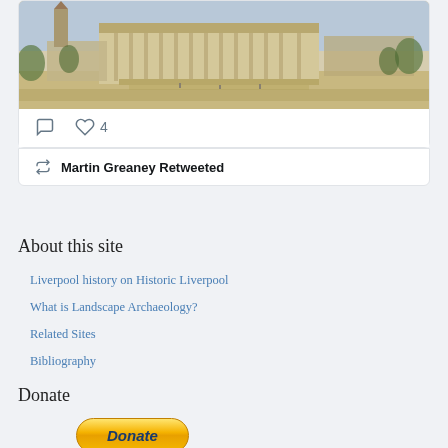[Figure (screenshot): Aerial illustration of a historic building complex, likely St George's Hall Liverpool area, shown as a vintage painted/drawn aerial view]
Martin Greaney Retweeted
About this site
Liverpool history on Historic Liverpool
What is Landscape Archaeology?
Related Sites
Bibliography
Donate
[Figure (other): PayPal Donate button, gold/yellow pill-shaped button with italic bold blue text 'Donate']
[Figure (other): Payment method icons: Mastercard, Maestro, Visa, and other payment logos]